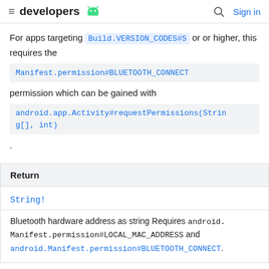≡ developers 🤖  🔍 Sign in
For apps targeting Build.VERSION_CODES#S or or higher, this requires the Manifest.permission#BLUETOOTH_CONNECT permission which can be gained with android.app.Activity#requestPermissions(String[], int).
| Return |
| --- |
| String! |
| Bluetooth hardware address as string Requires android.Manifest.permission#LOCAL_MAC_ADDRESS and android.Manifest.permission#BLUETOOTH_CONNECT. |